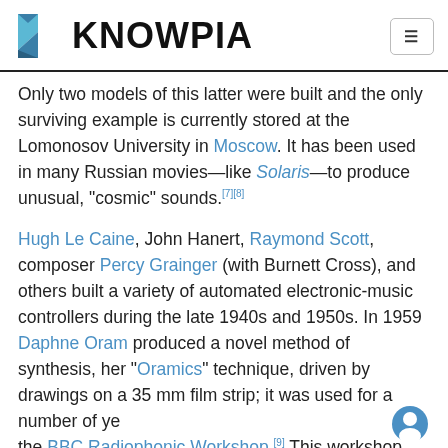KNOWPIA
Only two models of this latter were built and the only surviving example is currently stored at the Lomonosov University in Moscow. It has been used in many Russian movies—like Solaris—to produce unusual, "cosmic" sounds.[7][8]
Hugh Le Caine, John Hanert, Raymond Scott, composer Percy Grainger (with Burnett Cross), and others built a variety of automated electronic-music controllers during the late 1940s and 1950s. In 1959 Daphne Oram produced a novel method of synthesis, her "Oramics" technique, driven by drawings on a 35 mm film strip; it was used for a number of years at the BBC Radiophonic Workshop.[9] This workshop was also responsible for the theme to the TV series